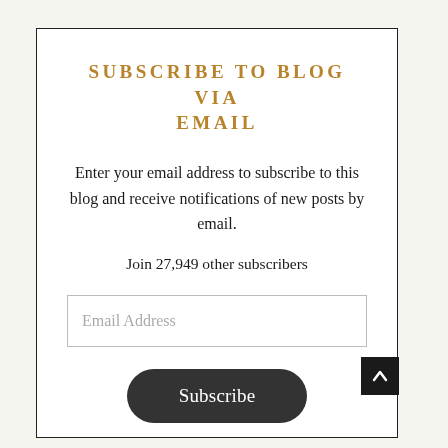SUBSCRIBE TO BLOG VIA EMAIL
Enter your email address to subscribe to this blog and receive notifications of new posts by email.
Join 27,949 other subscribers
[Figure (other): Email address input field with placeholder text 'Email Address']
[Figure (other): Dark rounded Subscribe button]